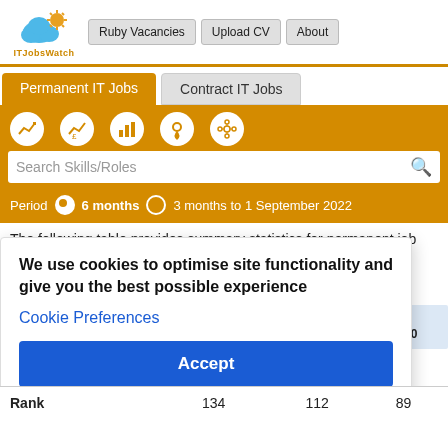[Figure (logo): ITJobsWatch logo with cloud and sun icon]
Ruby Vacancies | Upload CV | About
Permanent IT Jobs | Contract IT Jobs
[Figure (infographic): Navigation icon circles: trend chart, salary chart, bar chart, location pin, network graph]
Search Skills/Roles
Period  6 months  3 months to 1 September 2022
The following table provides summary statistics for permanent job ... ruby ... d in ... mber ... years.
We use cookies to optimise site functionality and give you the best possible experience
Cookie Preferences
Accept
Same
riod 2020
| Rank |  | 134 | 112 | 89 |
| --- | --- | --- | --- | --- |